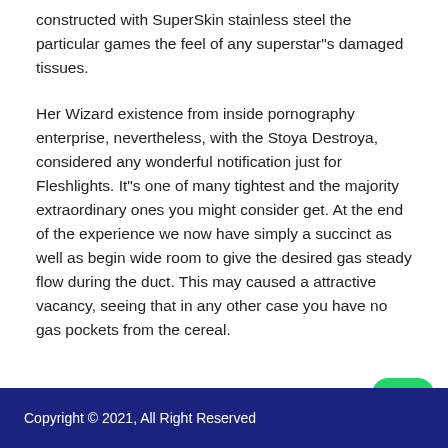constructed with SuperSkin stainless steel the particular games the feel of any superstar"s damaged tissues.
Her Wizard existence from inside pornography enterprise, nevertheless, with the Stoya Destroya, considered any wonderful notification just for Fleshlights. It"s one of many tightest and the majority extraordinary ones you might consider get. At the end of the experience we now have simply a succinct as well as begin wide room to give the desired gas steady flow during the duct. This may caused a attractive vacancy, seeing that in any other case you have no gas pockets from the cereal.
Copyright © 2021, All Right Reserved